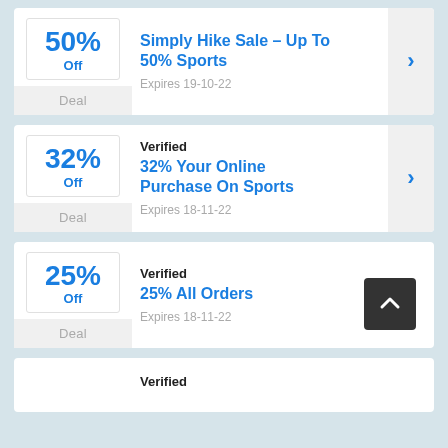50% Off — Simply Hike Sale - Up To 50% Sports — Expires 19-10-22
Verified — 32% Your Online Purchase On Sports — Expires 18-11-22
Verified — 25% All Orders — Expires 18-11-22
Verified